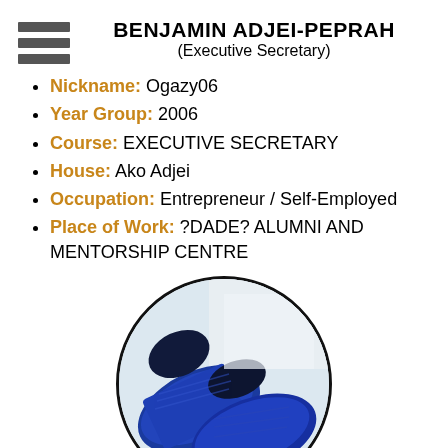BENJAMIN ADJEI-PEPRAH
(Executive Secretary)
Nickname: Ogazy06
Year Group: 2006
Course: EXECUTIVE SECRETARY
House: Ako Adjei
Occupation: Entrepreneur / Self-Employed
Place of Work: ?DADE? ALUMNI AND MENTORSHIP CENTRE
[Figure (photo): Oval-framed photo showing blue knit shoes/loafers viewed from above at an angle]